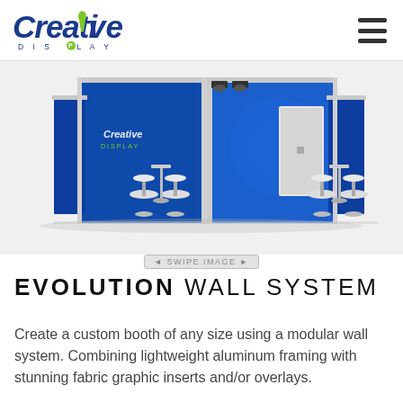Creative Display — navigation header with hamburger menu
[Figure (photo): Rendered 3D product image of the Evolution Wall System — a modular trade show booth with blue fabric graphic panels, aluminum framing, spotlight lights, and bar-height white chairs/tables. The Creative Display logo appears on the booth panels.]
◄ SWIPE IMAGE ►
EVOLUTION WALL SYSTEM
Create a custom booth of any size using a modular wall system. Combining lightweight aluminum framing with stunning fabric graphic inserts and/or overlays.